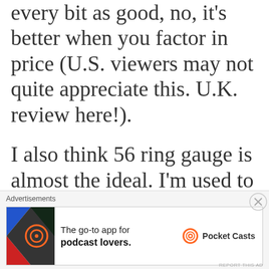every bit as good, no, it's better when you factor in price (U.S. viewers may not quite appreciate this. U.K. review here!).
I also think 56 ring gauge is almost the ideal. I'm used to smoking 60's (and my next smoke will
[Figure (infographic): Advertisement banner for Pocket Casts app: 'The go-to app for podcast lovers.' with Pocket Casts logo. Labeled 'Advertisements' at top. Close button (X) in upper right.]